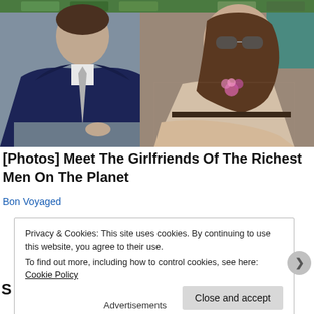[Figure (photo): Two people seated, likely at a sporting event (Wimbledon). On the left is a man in a dark navy suit with a light grey tie. On the right is a young woman with long brown hair wearing sunglasses and a beige lace dress with a pink flower accessory. Green seats visible in background.]
[Photos] Meet The Girlfriends Of The Richest Men On The Planet
Bon Voyaged
Privacy & Cookies: This site uses cookies. By continuing to use this website, you agree to their use.
To find out more, including how to control cookies, see here: Cookie Policy
Close and accept
Advertisements